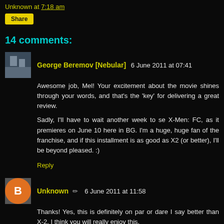Unknown at 7:18 am
Share
14 comments:
George Beremov [Nebular] 6 June 2011 at 07:41
Awesome job, Mel! Your excitement about the movie shines through your words, and that's the 'key' for delivering a great review.

Sadly, I'll have to wait another week to se X-Men: FC, as it premieres on June 10 here in BG. I'm a huge, huge fan of the franchise, and if this installment is as good as X2 (or better), I'll be beyond pleased. :)
Reply
Unknown 6 June 2011 at 11:58
Thanks! Yes, this is definitely on par or dare I say better than X-2. I think you will really enjoy this.